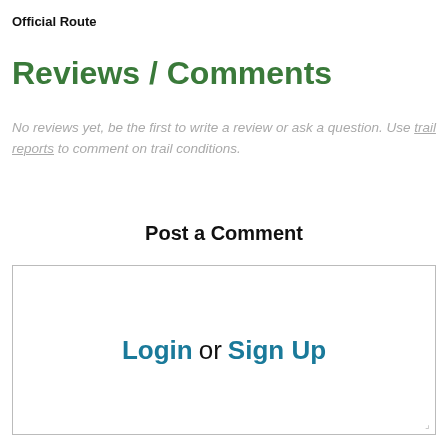Official Route
Reviews / Comments
No reviews yet, be the first to write a review or ask a question. Use trail reports to comment on trail conditions.
Post a Comment
[Figure (other): A text area box with Login or Sign Up prompt inside, with a resize handle in the bottom-right corner]